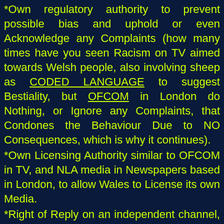*Own regulatory authority to prevent possible bias and uphold or even Acknowledge any Complaints (how many times have you seen Racism on TV aimed towards Welsh people, also involving sheep as CODED LANGUAGE to suggest Bestiality, but OFCOM in London do Nothing, or Ignore any Complaints, that Condones the Behaviour Due to NO Consequences, which is why it continues).
*Own Licensing Authority similar to OFCOM in TV, and NLA media in Newspapers based in London, to allow Wales to License its own Media.
*Right of Reply on an independent channel, if OFCOM continue to ignore any racism or slander towards Welsh (or any other) people.
*Provides a more Equal Democratic process by providing Wales with an Independent Voice to discuss